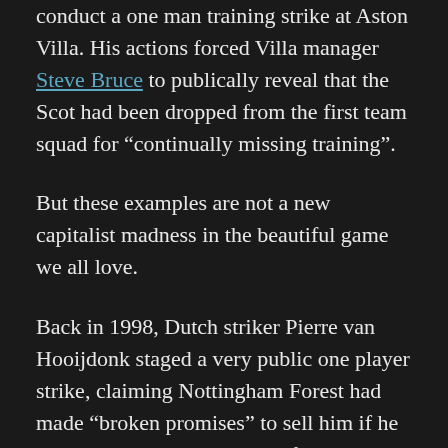conduct a one man training strike at Aston Villa. His actions forced Villa manager Steve Bruce to publically reveal that the Scot had been dropped from the first team squad for “continually missing training”.
But these examples are not a new capitalist madness in the beautiful game we all love.
Back in 1998, Dutch striker Pierre van Hooijdonk staged a very public one player strike, claiming Nottingham Forest had made “broken promises” to sell him if he helped them earn promotion from Division One.
And more recently in September 2011, during a Champions League clash with Bayern Munich